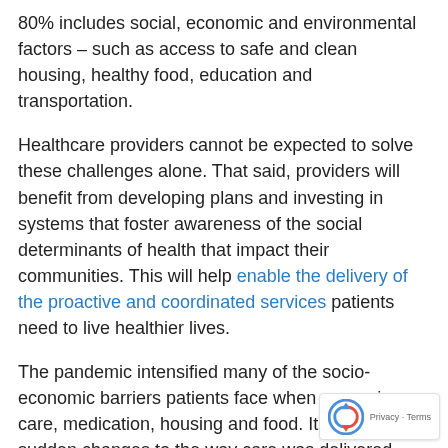80% includes social, economic and environmental factors – such as access to safe and clean housing, healthy food, education and transportation.
Healthcare providers cannot be expected to solve these challenges alone. That said, providers will benefit from developing plans and investing in systems that foster awareness of the social determinants of health that impact their communities. This will help enable the delivery of the proactive and coordinated services patients need to live healthier lives.
The pandemic intensified many of the socio-economic barriers patients face when accessing care, medication, housing and food. It forced sudden changes to the way care was delivered, making it harder for healthcare organizations to sustain high-quality services. When overwhelmed hospitals just needed to get through the value-based care took a hit.